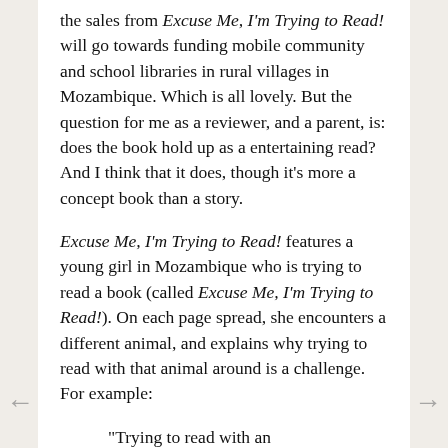the sales from Excuse Me, I'm Trying to Read! will go towards funding mobile community and school libraries in rural villages in Mozambique. Which is all lovely. But the question for me as a reviewer, and a parent, is: does the book hold up as a entertaining read? And I think that it does, though it's more a concept book than a story.
Excuse Me, I'm Trying to Read! features a young girl in Mozambique who is trying to read a book (called Excuse Me, I'm Trying to Read!). On each page spread, she encounters a different animal, and explains why trying to read with that animal around is a challenge. For example:
"Trying to read with an elephant can be surprising